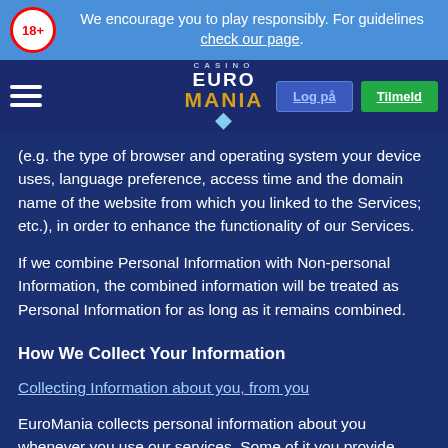We encourage you to play responsibly. For guidelines check our page.
[Figure (logo): EuroMania Casino logo with navigation bar including hamburger menu, Log på and Tilmeld buttons]
(e.g. the type of browser and operating system your device uses, language preference, access time and the domain name of the website from which you linked to the Services; etc.), in order to enhance the functionality of our Services.
If we combine Personal Information with Non-personal Information, the combined information will be treated as Personal Information for as long as it remains combined.
How We Collect Your Information
Collecting Information about you, from you
EuroMania collects personal information about you whenever you use our services. Some of it you provide directly to us, for example, when you register an account or fund your account. Other information is collected during your interaction with